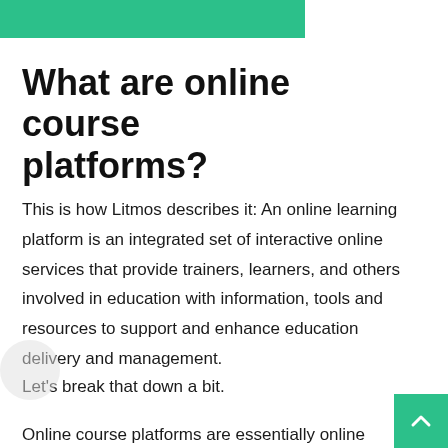[Figure (other): Green banner/header strip at the top of the page]
What are online course platforms?
This is how Litmos describes it: An online learning platform is an integrated set of interactive online services that provide trainers, learners, and others involved in education with information, tools and resources to support and enhance education delivery and management.
Let's break that down a bit.
Online course platforms are essentially online